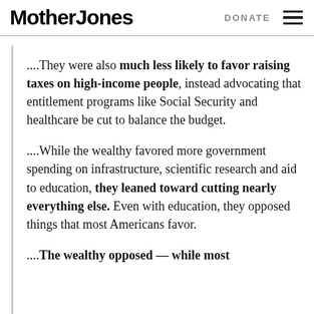Mother Jones  DONATE
....They were also much less likely to favor raising taxes on high-income people, instead advocating that entitlement programs like Social Security and healthcare be cut to balance the budget.
....While the wealthy favored more government spending on infrastructure, scientific research and aid to education, they leaned toward cutting nearly everything else. Even with education, they opposed things that most Americans favor.
....The wealthy opposed — while most